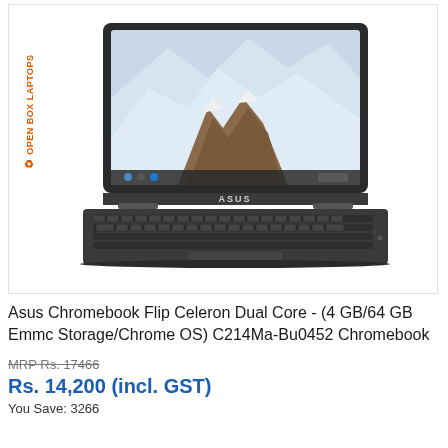[Figure (photo): ASUS Chromebook Flip laptop product photo showing the laptop open with a mountain/glacier wallpaper on screen, dark grey chassis, ASUS branding on the keyboard deck. 'OPEN BOX LAPTOPS' label in orange on the left side of the image container.]
Asus Chromebook Flip Celeron Dual Core - (4 GB/64 GB Emmc Storage/Chrome OS) C214Ma-Bu0452 Chromebook
MRP Rs. 17466
Rs. 14,200 (incl. GST)
You Save: 3266